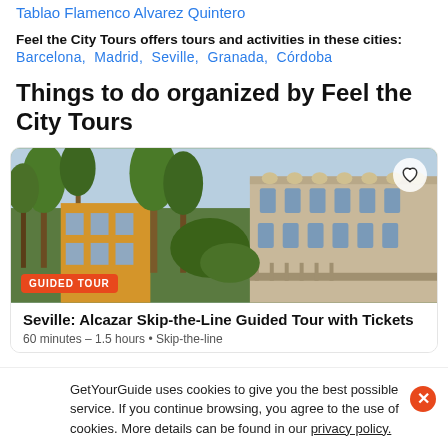Tablao Flamenco Alvarez Quintero
Feel the City Tours offers tours and activities in these cities: Barcelona, Madrid, Seville, Granada, Córdoba
Things to do organized by Feel the City Tours
[Figure (photo): Photo of Seville's Alcazar palace with palm trees and ornate stone facade]
GUIDED TOUR
Seville: Alcazar Skip-the-Line Guided Tour with Tickets
60 minutes - 1.5 hours • Skip-the-line
GetYourGuide uses cookies to give you the best possible service. If you continue browsing, you agree to the use of cookies. More details can be found in our privacy policy.